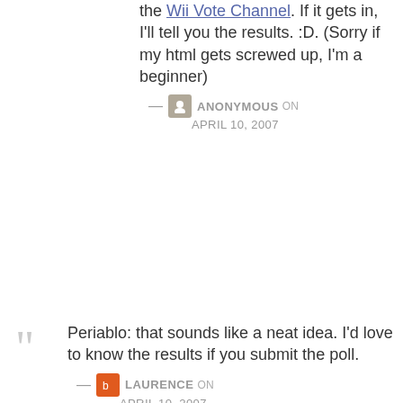the Wii Vote Channel. If it gets in, I'll tell you the results. :D. (Sorry if my html gets screwed up, I'm a beginner)
— Anonymous on April 10, 2007
Periablo: that sounds like a neat idea. I'd love to know the results if you submit the poll.
— Laurence on April 10, 2007
funny video, hahaahaa....thanks em..:)
— Anonymous on May 06, 2007
i'll follow this...